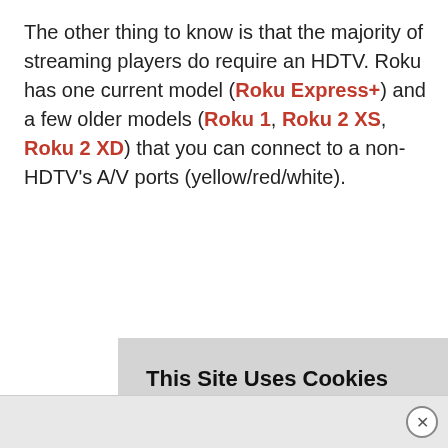The other thing to know is that the majority of streaming players do require an HDTV. Roku has one current model (Roku Express+) and a few older models (Roku 1, Roku 2 XS, Roku 2 XD) that you can connect to a non-HDTV's A/V ports (yellow/red/white).
This Site Uses Cookies
Learn more about T4L's privacy policy.
ACCEPT